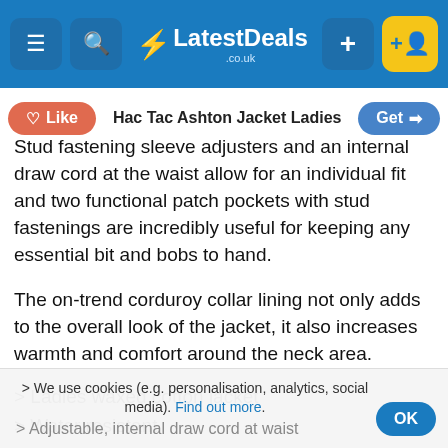LatestDeals.co.uk navigation bar
Stud fastening sleeve adjusters and an internal draw cord at the waist allow for an individual fit and two functional patch pockets with stud fastenings are incredibly useful for keeping any essential bit and bobs to hand.
The on-trend corduroy collar lining not only adds to the overall look of the jacket, it also increases warmth and comfort around the neck area.
> Ladies waxed cotton jacket
> Water resistant
> Longer length body
> Zip front fastening
> Stud fastening storm flap
> Heavyweight diamond quilting
> Adjustable, internal draw cord at waist
We use cookies (e.g. personalisation, analytics, social media). Find out more.